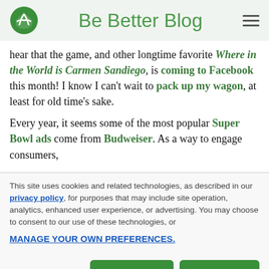Be Better Blog
hear that the game, and other longtime favorite Where in the World is Carmen Sandiego, is coming to Facebook this month!  I know I can't wait to pack up my wagon, at least for old time's sake.

Every year, it seems some of the most popular Super Bowl ads come from Budweiser. As a way to engage consumers,
This site uses cookies and related technologies, as described in our privacy policy, for purposes that may include site operation, analytics, enhanced user experience, or advertising. You may choose to consent to our use of these technologies, or MANAGE YOUR OWN PREFERENCES.